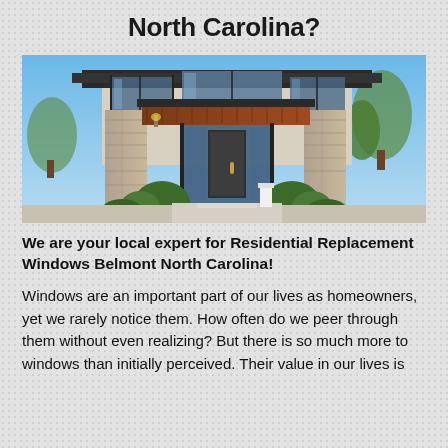North Carolina?
[Figure (photo): Modern luxury home exterior with stone pillars, large glass windows, wooden canopy, and landscaped greenery under a blue sky]
We are your local expert for Residential Replacement Windows Belmont North Carolina!
Windows are an important part of our lives as homeowners, yet we rarely notice them. How often do we peer through them without even realizing? But there is so much more to windows than initially perceived. Their value in our lives is